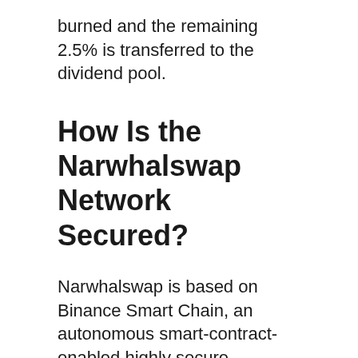burned and the remaining 2.5% is transferred to the dividend pool.
How Is the Narwhalswap Network Secured?
Narwhalswap is based on Binance Smart Chain, an autonomous smart-contract-enabled highly secure blockchain. It is compatible with the Ethereum Virtual Machine (EVM) and is planned to support all existing Ethereum instruments.
Built-in dual-chain interoperability will enable inter-blockchain communication and scalable decentralized applications (DApps) that are expected to provide a fast and reliable user experience.